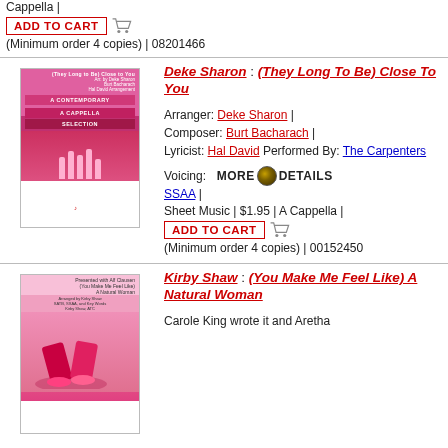Cappella |
ADD TO CART
(Minimum order 4 copies) | 08201466
[Figure (illustration): Pink sheet music book cover for (They Long To Be) Close To You, A Contemporary A Cappella Selection, arranged by Deke Sharon]
Deke Sharon : (They Long To Be) Close To You
Arranger: Deke Sharon | Composer: Burt Bacharach | Lyricist: Hal David Performed By: The Carpenters
Voicing: MORE DETAILS SSAA | Sheet Music | $1.95 | A Cappella |
ADD TO CART
(Minimum order 4 copies) | 00152450
[Figure (illustration): Pink sheet music book cover for (You Make Me Feel Like) A Natural Woman by Kirby Shaw]
Kirby Shaw : (You Make Me Feel Like) A Natural Woman
Carole King wrote it and Aretha